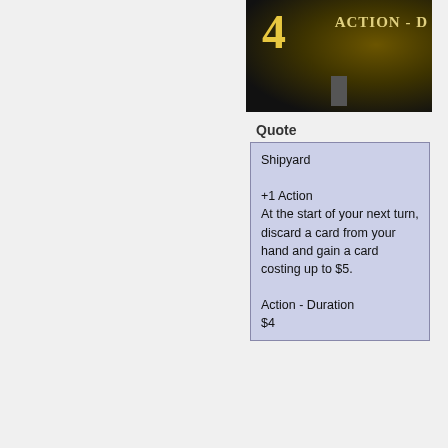[Figure (photo): Card image showing the number 4 with text ACTION - D partially visible, dark background with golden tones]
Quote
Shipyard

+1 Action
At the start of your next turn, discard a card from your hand and gain a card costing up to $5.

Action - Duration
$4
Logged
segura
Saboteur
★★★★★
Offline
Posts: 1480
Respect: +986
Re: Set Expansion Contest
« Reply #68 on: October 09, 2020, 12:19:16 pm »
Looks like one of those weird Durations that only exists for